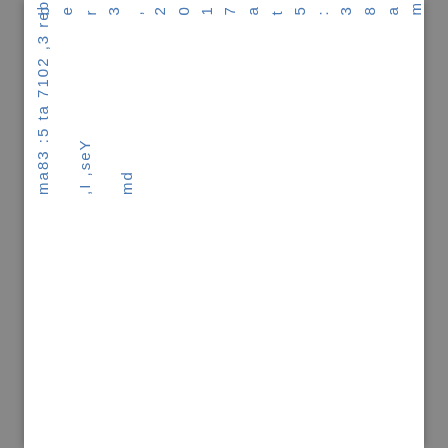ber 3, 2017 at 5:38am

Yes, I'm md